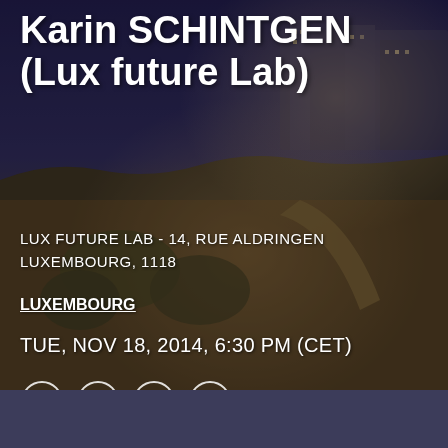[Figure (photo): Aerial night photograph of Luxembourg city showing illuminated historic buildings, cliffs, and roads with warm golden city lights against a dark blue evening sky]
Karin SCHINTGEN (Lux future Lab)
LUX FUTURE LAB - 14, RUE ALDRINGEN LUXEMBOURG, 1118
LUXEMBOURG
TUE, NOV 18, 2014, 6:30 PM (CET)
[Figure (illustration): Four circular social media icons: Facebook (f), Twitter (bird), LinkedIn (in), Email (envelope)]
IN-PERSON EVE...
Payment Issues? Let us know